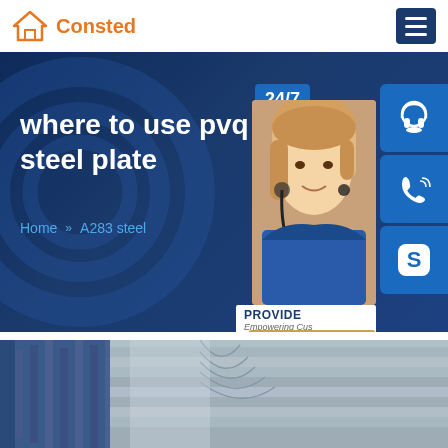Consted
where to use pvq 15m steel plate
Home >> A283 steel
[Figure (screenshot): Customer support sidebar widget showing 24/7 support, agent photo, headset icon, phone icon, Skype icon, PROVIDE Empowering Customers banner, and online live button]
[Figure (photo): Steel plates stacked, showing layered metal sheets in an industrial setting]